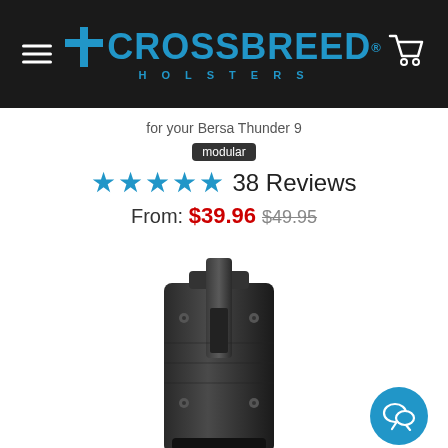[Figure (logo): CrossBreed Holsters logo with blue cross icon and blue text on black background, with hamburger menu on left and cart icon on right]
for your Bersa Thunder 9
modular
★★★★★ 38 Reviews
From: $39.96 $49.95
[Figure (photo): Crossbreed Holsters single magazine carrier/holder in black polymer, showing a black kydex magazine pouch with belt clip]